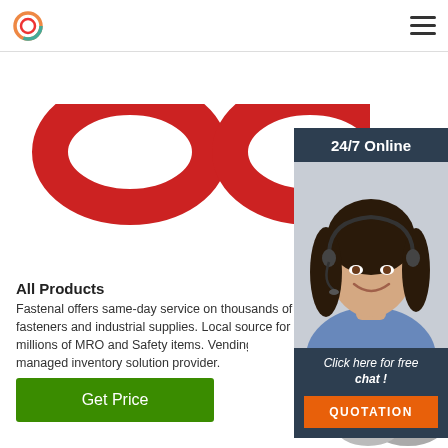Fastenal website header with logo and hamburger menu
[Figure (photo): Red chain links on white background, cropped at top]
[Figure (photo): 24/7 Online chat widget with customer service representative wearing headset, 'Click here for free chat!' text and QUOTATION button]
All Products
Fastenal offers same-day service on thousands of fasteners and industrial supplies. Local source for millions of MRO and Safety items. Vending and managed inventory solution provider.
[Figure (other): Green 'Get Price' button]
[Figure (photo): Silver chain links and metal hardware at bottom right, with gray scroll-to-top circular arrow button]